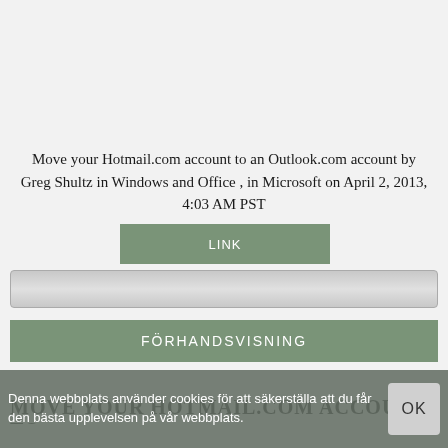Move your Hotmail.com account to an Outlook.com account by Greg Shultz in Windows and Office , in Microsoft on April 2, 2013, 4:03 AM PST
[Figure (screenshot): Green button labeled LINK]
[Figure (screenshot): Gray input/search bar]
[Figure (screenshot): Green button labeled FÖRHANDSVISNING]
MOVE YOUR HOTMAIL.COM ACCOUNT TO
Denna webbplats använder cookies för att säkerställa att du får den bästa upplevelsen på vår webbplats.
[Figure (screenshot): OK button on cookie banner]